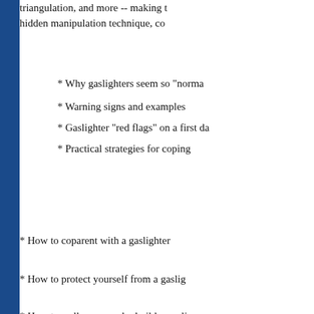triangulation, and more -- making t hidden manipulation technique, co
* Why gaslighters seem so "norma
* Warning signs and examples
* Gaslighter "red flags" on a first da
* Practical strategies for coping
* How to coparent with a gaslighter
* How to protect yourself from a gaslig
* How to walk away and rebuild your li
With clear-eyed wisdom and empathy, she gives you the tools to break free a
10) Homebody: A Guide to Creating
In Homebody: A Guide to Creating home that reflects the personalities well as a range of other homes, thi likes and dislikes, with practical ste Homebody gives you an in-depth k drawn to in order to create spaces